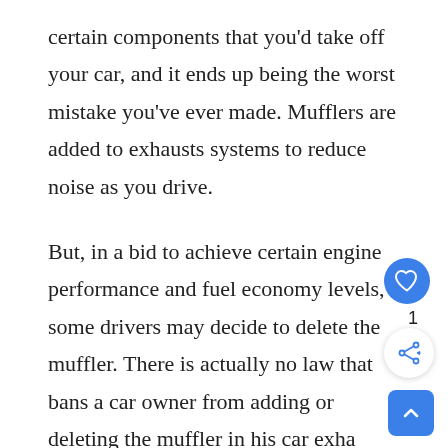certain components that you'd take off your car, and it ends up being the worst mistake you've ever made. Mufflers are added to exhausts systems to reduce noise as you drive.
But, in a bid to achieve certain engine performance and fuel economy levels, some drivers may decide to delete the muffler. There is actually no law that bans a car owner from adding or deleting the muffler in his car exha‌
However, different cities have laws that regu‌e exhaust noise, and removing the muffler can